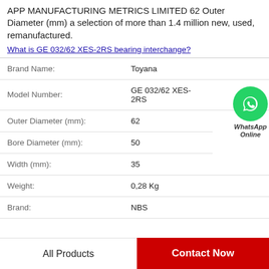APP MANUFACTURING METRICS LIMITED 62 Outer Diameter (mm) a selection of more than 1.4 million new, used, remanufactured.
What is GE 032/62 XES-2RS bearing interchange?
| Property | Value |
| --- | --- |
| Brand Name: | Toyana |
| Model Number: | GE 032/62 XES-2RS |
| Outer Diameter (mm): | 62 |
| Bore Diameter (mm): | 50 |
| Width (mm): | 35 |
| Weight: | 0,28 Kg |
| Brand: | NBS |
All Products
Contact Now